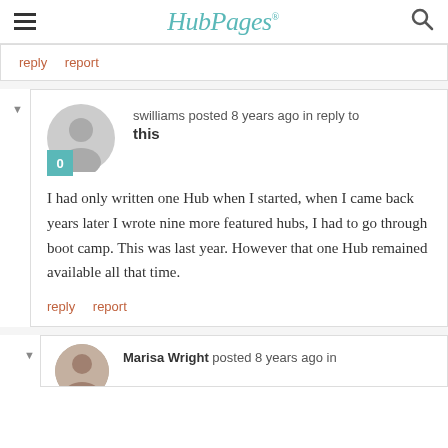HubPages
reply   report
swilliams posted 8 years ago in reply to this
I had only written one Hub when I started, when I came back years later I wrote nine more featured hubs, I had to go through boot camp. This was last year. However that one Hub remained available all that time.
reply   report
Marisa Wright posted 8 years ago in